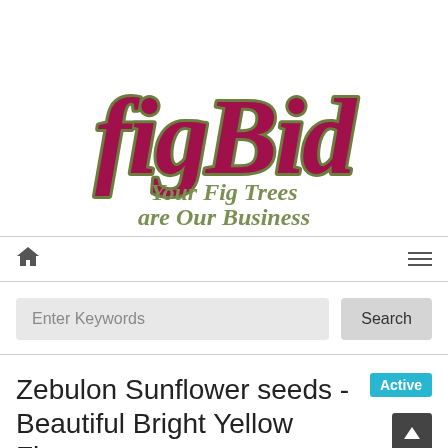[Figure (logo): figBid logo with italic serif stylized text in dark red/magenta with olive green outline, and tagline 'Your Fig Trees are Our Business' in italic bold olive green]
Home | Menu
Enter Keywords | Search
Zebulon Sunflower seeds - Beautiful Bright Yellow Flowers
FREE SHIPPING - Wonderful Northeast